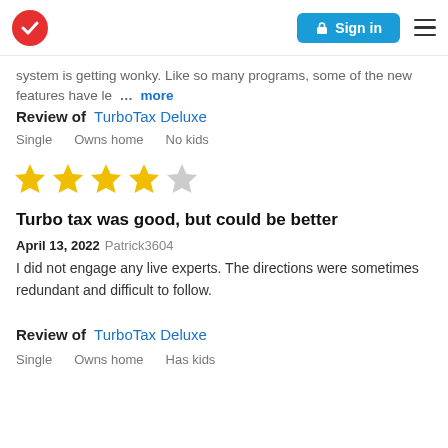TurboTax logo | Sign in | Menu
system is getting wonky. Like so many programs, some of the new features have le … more
Review of  TurboTax Deluxe
Single    Owns home    No kids
[Figure (other): 4 out of 5 stars rating]
Turbo tax was good, but could be better
April 13, 2022 Patrick3604
I did not engage any live experts. The directions were sometimes redundant and difficult to follow.
Review of  TurboTax Deluxe
Single    Owns home    Has kids